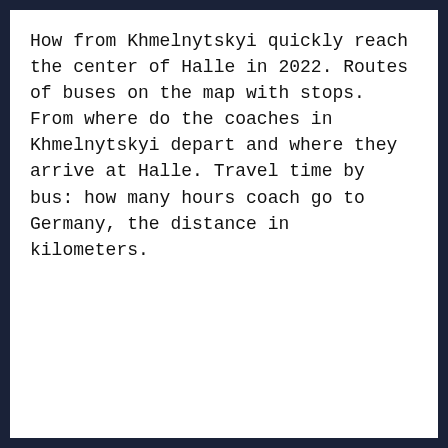How from Khmelnytskyi quickly reach the center of Halle in 2022. Routes of buses on the map with stops. From where do the coaches in Khmelnytskyi depart and where they arrive at Halle. Travel time by bus: how many hours coach go to Germany, the distance in kilometers.